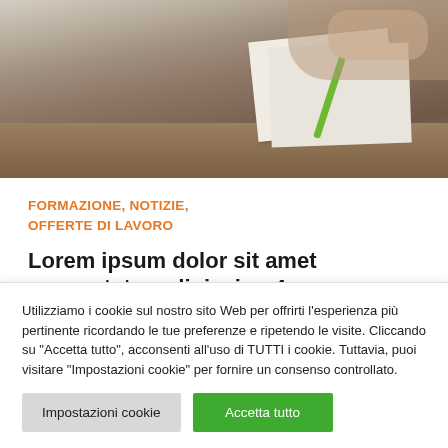[Figure (photo): Photo of a student writing at a desk, with papers and a green pen visible]
FORMAZIONE, NOTIZIE, OFFERTE DI LAVORO
Lorem ipsum dolor sit amet consectetur adipiscing 4
Utilizziamo i cookie sul nostro sito Web per offrirti l'esperienza più pertinente ricordando le tue preferenze e ripetendo le visite. Cliccando su "Accetta tutto", acconsenti all'uso di TUTTI i cookie. Tuttavia, puoi visitare "Impostazioni cookie" per fornire un consenso controllato.
Impostazioni cookie
Accetta tutto